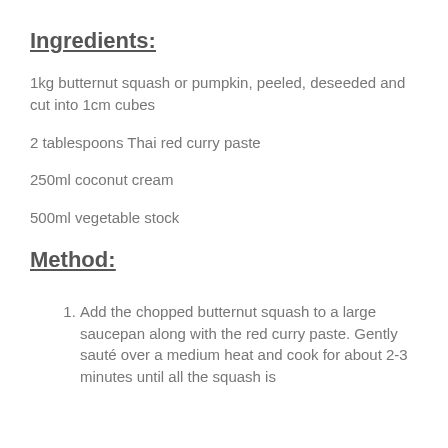Ingredients:
1kg butternut squash or pumpkin, peeled, deseeded and cut into 1cm cubes
2 tablespoons Thai red curry paste
250ml coconut cream
500ml vegetable stock
Method:
1. Add the chopped butternut squash to a large saucepan along with the red curry paste. Gently sauté over a medium heat and cook for about 2-3 minutes until all the squash is